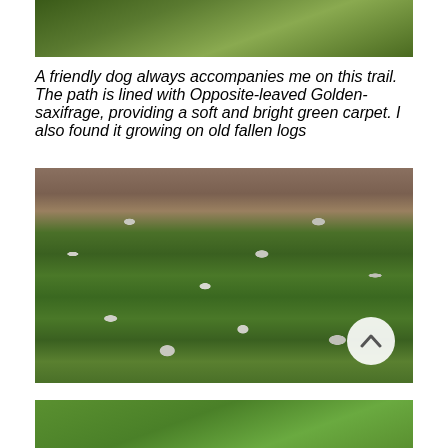[Figure (photo): Top portion of a photo showing green ferns and mossy vegetation along a forest trail]
A friendly dog always accompanies me on this trail. The path is lined with Opposite-leaved Golden-saxifrage, providing a soft and bright green carpet. I also found it growing on old fallen logs
[Figure (photo): A lush green carpet of plants with small white flowers (wood anemones) growing on a forest floor, with brown twigs and branches visible in the background. A circular scroll-to-top button with an upward chevron is visible in the bottom-right corner.]
[Figure (photo): Bottom portion of another photo showing green vegetation, partially cropped]